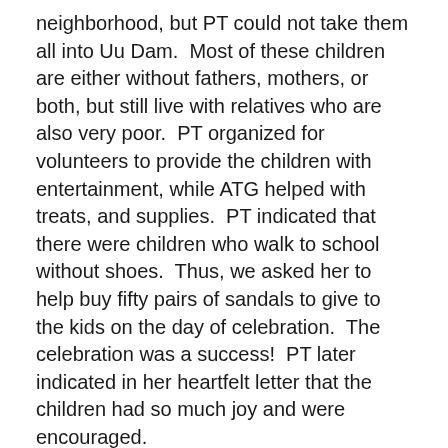neighborhood, but PT could not take them all into Uu Dam.  Most of these children are either without fathers, mothers, or both, but still live with relatives who are also very poor.  PT organized for volunteers to provide the children with entertainment, while ATG helped with treats, and supplies.  PT indicated that there were children who walk to school without shoes.  Thus, we asked her to help buy fifty pairs of sandals to give to the kids on the day of celebration.  The celebration was a success!  PT later indicated in her heartfelt letter that the children had so much joy and were encouraged.
For only VND$10 Million, we were able to bring happiness to approximately 300 children.